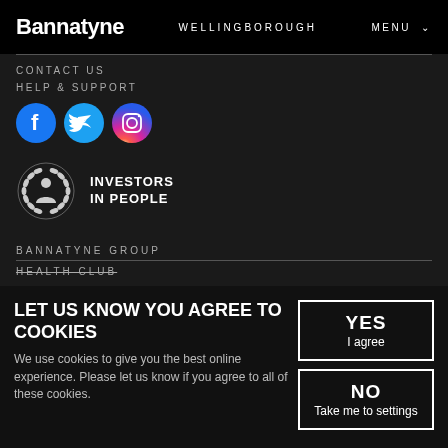Bannatyne  WELLINGBOROUGH  MENU
CONTACT US
HELP & SUPPORT
[Figure (illustration): Social media icons: Facebook (blue circle with f), Twitter (blue circle with bird), Instagram (gradient circle with camera)]
[Figure (logo): Investors in People logo: wreath icon with text INVESTORS IN PEOPLE]
BANNATYNE GROUP
HEALTH CLUB
LET US KNOW YOU AGREE TO COOKIES
We use cookies to give you the best online experience. Please let us know if you agree to all of these cookies.
YES
I agree
NO
Take me to settings